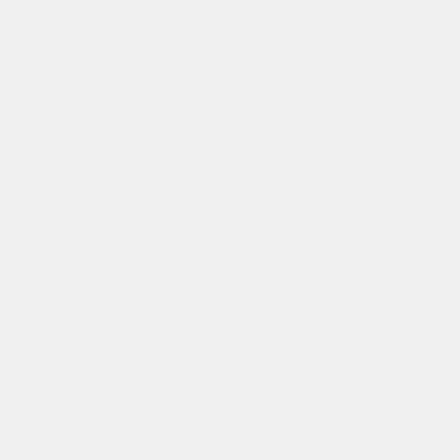DF
-
Èib
Ni
Ch
23
18.
DF
-
Bri
Bö
25
20.
DF
-
An
Be
7
Lio
28
22.
DF
-
Sa
Kn